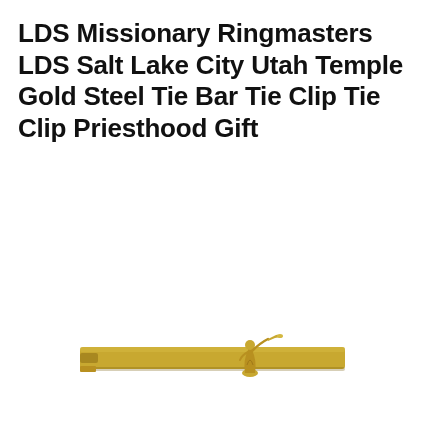LDS Missionary Ringmasters LDS Salt Lake City Utah Temple Gold Steel Tie Bar Tie Clip Tie Clip Priesthood Gift
[Figure (photo): A gold-colored steel tie bar/tie clip with a small Moroni angel figurine on top, shown against a white background.]